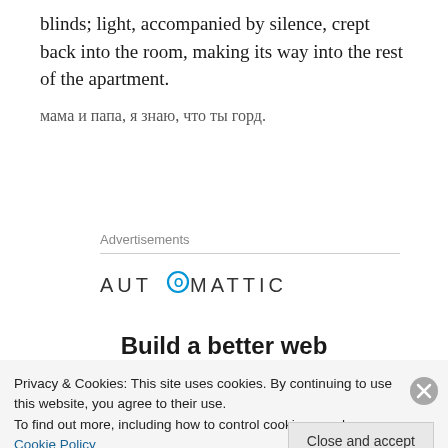blinds; light, accompanied by silence, crept back into the room, making its way into the rest of the apartment.
мама и папа, я знаю, что ты горд.
Advertisements
[Figure (logo): Automattic logo with circular O icon]
Build a better web
Privacy & Cookies: This site uses cookies. By continuing to use this website, you agree to their use.
To find out more, including how to control cookies, see here: Cookie Policy
Close and accept